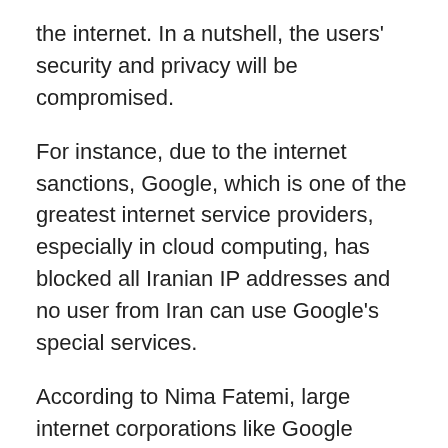the internet. In a nutshell, the users' security and privacy will be compromised.
For instance, due to the internet sanctions, Google, which is one of the greatest internet service providers, especially in cloud computing, has blocked all Iranian IP addresses and no user from Iran can use Google's special services.
According to Nima Fatemi, large internet corporations like Google restrict Iranian users even more than official sanctions:
“Google has installed more advanced detection systems that even if the users use VPNs and want to visit websites that keep their data on the Google cloud, they will still be blocked by Google. It is beyond what the U.S. sanctions have asked the technology companies”
Amir Rashidi also emphasizes that before the sanctions